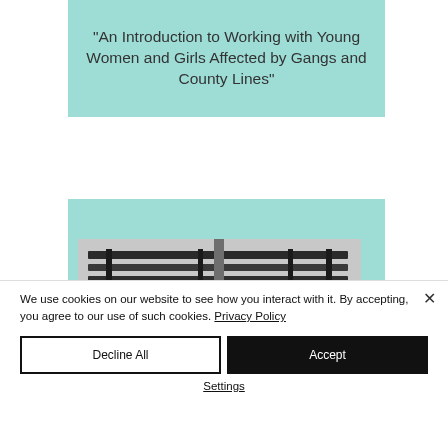"An Introduction to Working with Young Women and Girls Affected by Gangs and County Lines"
[Figure (photo): Teal background panel with a black and white photograph of what appears to be a bench or seating structure]
We use cookies on our website to see how you interact with it. By accepting, you agree to our use of such cookies. Privacy Policy
Decline All
Accept
Settings